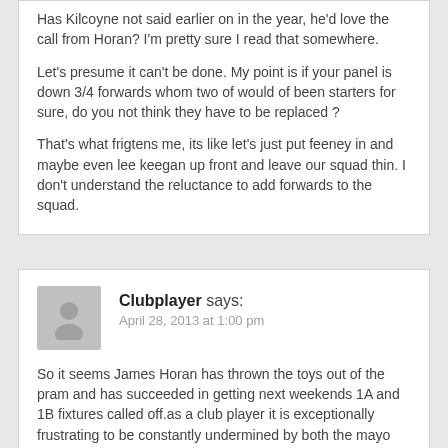Has Kilcoyne not said earlier on in the year, he'd love the call from Horan? I'm pretty sure I read that somewhere.
Let's presume it can't be done. My point is if your panel is down 3/4 forwards whom two of would of been starters for sure, do you not think they have to be replaced ?
That's what frigtens me, its like let's just put feeney in and maybe even lee keegan up front and leave our squad thin. I don't understand the reluctance to add forwards to the squad.
Clubplayer says:
April 28, 2013 at 1:00 pm
So it seems James Horan has thrown the toys out of the pram and has succeeded in getting next weekends 1A and 1B fixtures called off.as a club player it is exceptionally frustrating to be constantly undermined by both the mayo